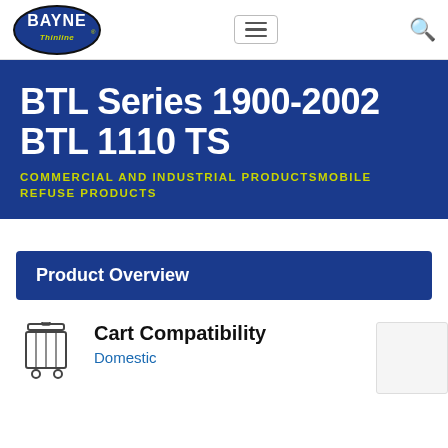Bayne Thinline logo, navigation menu, search
BTL Series 1900-2002 BTL 1110 TS
COMMERCIAL AND INDUSTRIAL PRODUCTSMOBILE REFUSE PRODUCTS
Product Overview
Cart Compatibility
Domestic